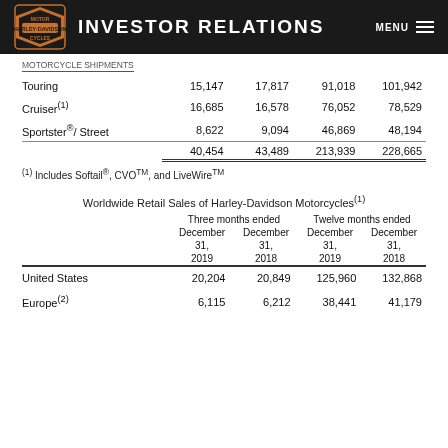INVESTOR RELATIONS
|  | Dec 31 2019 | Dec 31 2018 | Dec 31 2019 | Dec 31 2018 |
| --- | --- | --- | --- | --- |
| Touring | 15,147 | 17,817 | 91,018 | 101,942 |
| Cruiser(1) | 16,685 | 16,578 | 76,052 | 78,529 |
| Sportster®/ Street | 8,622 | 9,094 | 46,869 | 48,194 |
|  | 40,454 | 43,489 | 213,939 | 228,665 |
(1) Includes Softail®, CVO™, and LiveWire™
Worldwide Retail Sales of Harley-Davidson Motorcycles(1)
|  | Three months ended December 31 2019 | Three months ended December 31 2018 | Twelve months ended December 31 2019 | Twelve months ended December 31 2018 |
| --- | --- | --- | --- | --- |
| United States | 20,204 | 20,849 | 125,960 | 132,868 |
| Europe(2) | 6,115 | 6,212 | 38,441 | 41,179 |